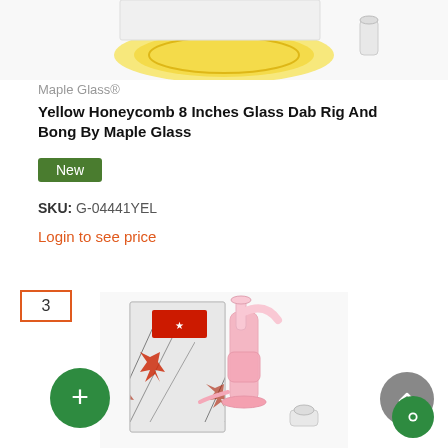[Figure (photo): Partial view of a yellow honeycomb glass dab rig product at top of page (cropped)]
Maple Glass®
Yellow Honeycomb 8 Inches Glass Dab Rig And Bong By Maple Glass
New
SKU: G-04441YEL
Login to see price
3
[Figure (photo): Pink glass water pipe/bong with maple leaf decorated box packaging, shown with a small bowl piece accessory]